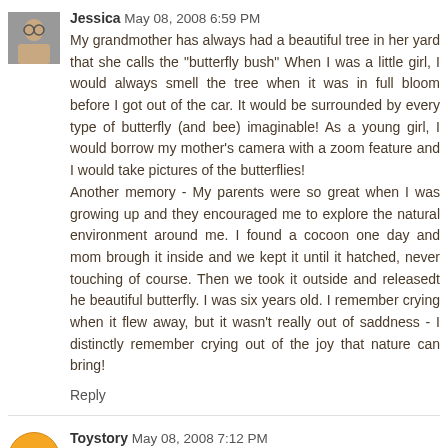Jessica  May 08, 2008 6:59 PM
My grandmother has always had a beautiful tree in her yard that she calls the "butterfly bush" When I was a little girl, I would always smell the tree when it was in full bloom before I got out of the car. It would be surrounded by every type of butterfly (and bee) imaginable! As a young girl, I would borrow my mother's camera with a zoom feature and I would take pictures of the butterflies! Another memory - My parents were so great when I was growing up and they encouraged me to explore the natural environment around me. I found a cocoon one day and mom brough it inside and we kept it until it hatched, never touching of course. Then we took it outside and releasedt he beautiful butterfly. I was six years old. I remember crying when it flew away, but it wasn't really out of saddness - I distinctly remember crying out of the joy that nature can bring!
Reply
Toystory  May 08, 2008 7:12 PM